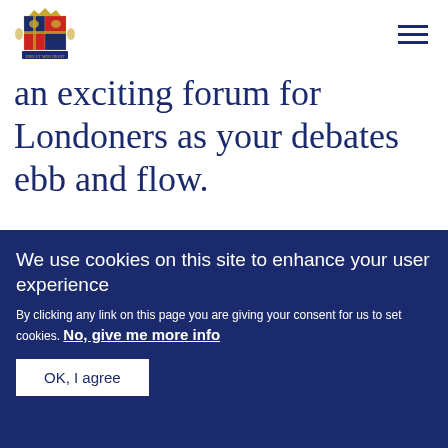[Figure (logo): Royal coat of arms / GLA logo in blue and gold]
an exciting forum for Londoners as your debates ebb and flow.
Opening of the new City Hall building in London, 23 July 2002
We use cookies on this site to enhance your user experience
By clicking any link on this page you are giving your consent for us to set cookies. No, give me more info
OK, I agree